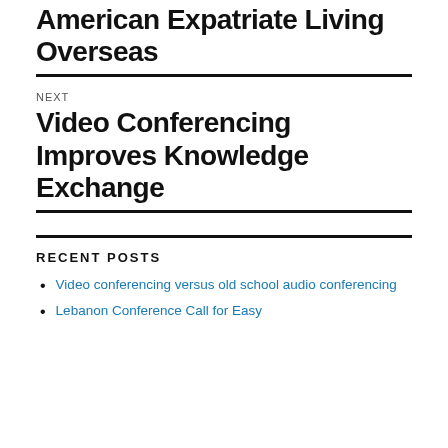American Expatriate Living Overseas
NEXT
Video Conferencing Improves Knowledge Exchange
RECENT POSTS
Video conferencing versus old school audio conferencing
Lebanon Conference Call for Easy